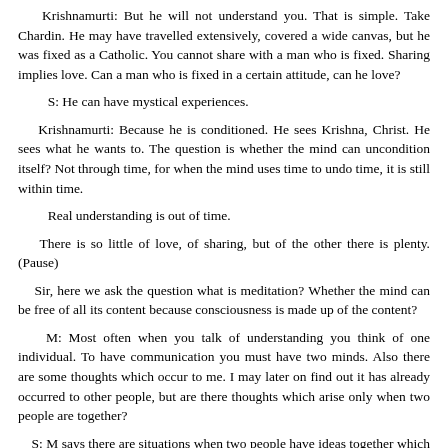Krishnamurti: But he will not understand you. That is simple. Take Chardin. He may have travelled extensively, covered a wide canvas, but he was fixed as a Catholic. You cannot share with a man who is fixed. Sharing implies love. Can a man who is fixed in a certain attitude, can he love?
S: He can have mystical experiences.
Krishnamurti: Because he is conditioned. He sees Krishna, Christ. He sees what he wants to. The question is whether the mind can uncondition itself? Not through time, for when the mind uses time to undo time, it is still within time.
Real understanding is out of time.
There is so little of love, of sharing, but of the other there is plenty. (Pause)
Sir, here we ask the question what is meditation? Whether the mind can be free of all its content because consciousness is made up of the content?
M: Most often when you talk of understanding you think of one individual. To have communication you must have two minds. Also there are some thoughts which occur to me. I may later on find out it has already occurred to other people, but are there thoughts which arise only when two people are together?
S: M says there are situations when two people have ideas together which either could have arrived at by themselves.